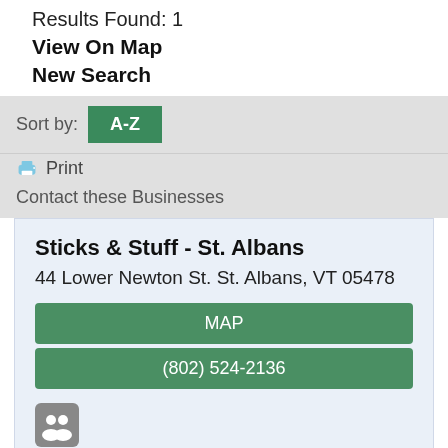Results Found: 1
View On Map
New Search
Sort by: A-Z
Print
Contact these Businesses
Sticks & Stuff - St. Albans
44 Lower Newton St. St. Albans, VT 05478
MAP
(802) 524-2136
Business Directory